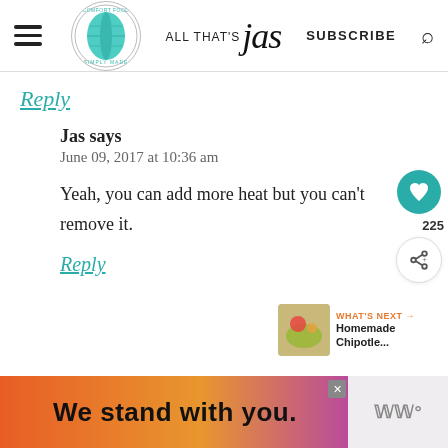ALL THAT'S JAS — SUBSCRIBE
Reply
Jas says
June 09, 2017 at 10:36 am
Yeah, you can add more heat but you can't remove it.
Reply
[Figure (screenshot): Advertisement banner reading 'We stand with you.' with colorful orange-to-purple gradient background and a close button]
WHAT'S NEXT → Homemade Chipotle...